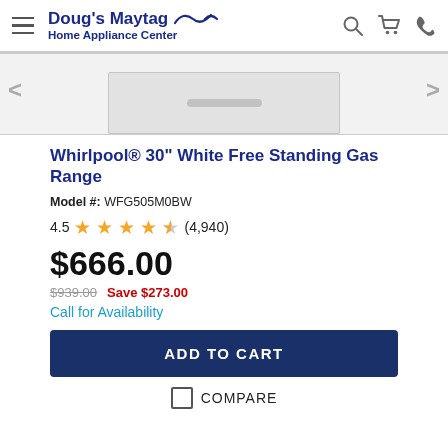Doug's Maytag Home Appliance Center
[Figure (photo): Partial view of a white Whirlpool gas range showing the lower drawer panel against a light gray background]
Whirlpool® 30" White Free Standing Gas Range
Model #: WFG505M0BW
4.5 ★★★★½ (4,940)
$666.00
$939.00  Save $273.00
Call for Availability
ADD TO CART
COMPARE